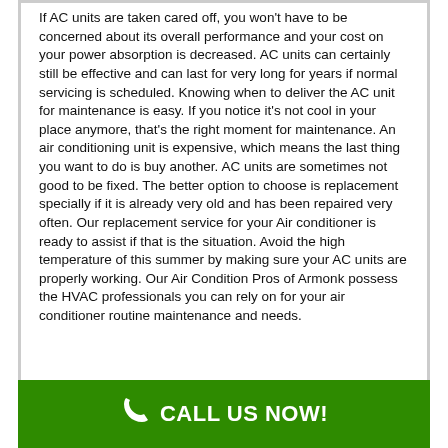If AC units are taken cared off, you won't have to be concerned about its overall performance and your cost on your power absorption is decreased. AC units can certainly still be effective and can last for very long for years if normal servicing is scheduled. Knowing when to deliver the AC unit for maintenance is easy. If you notice it's not cool in your place anymore, that's the right moment for maintenance. An air conditioning unit is expensive, which means the last thing you want to do is buy another. AC units are sometimes not good to be fixed. The better option to choose is replacement specially if it is already very old and has been repaired very often. Our replacement service for your Air conditioner is ready to assist if that is the situation. Avoid the high temperature of this summer by making sure your AC units are properly working. Our Air Condition Pros of Armonk possess the HVAC professionals you can rely on for your air conditioner routine maintenance and needs.
CALL US NOW!